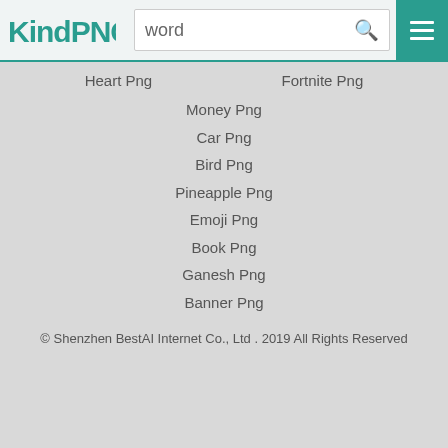KindPNG - word search bar with menu button
Heart Png
Fortnite Png
Money Png
Car Png
Bird Png
Pineapple Png
Emoji Png
Book Png
Ganesh Png
Banner Png
© Shenzhen BestAI Internet Co., Ltd . 2019 All Rights Reserved